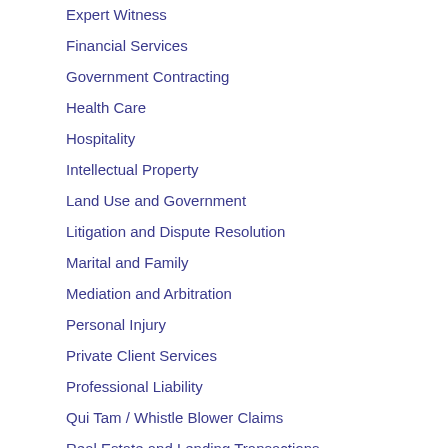Expert Witness
Financial Services
Government Contracting
Health Care
Hospitality
Intellectual Property
Land Use and Government
Litigation and Dispute Resolution
Marital and Family
Mediation and Arbitration
Personal Injury
Private Client Services
Professional Liability
Qui Tam / Whistle Blower Claims
Real Estate and Lending Transactions
SBA Lending